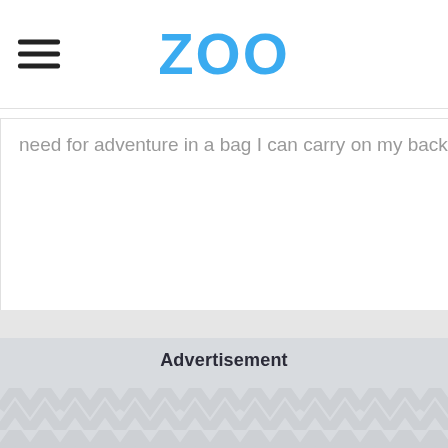ZOO
need for adventure in a bag I can carry on my back.
bag.
Advertisement